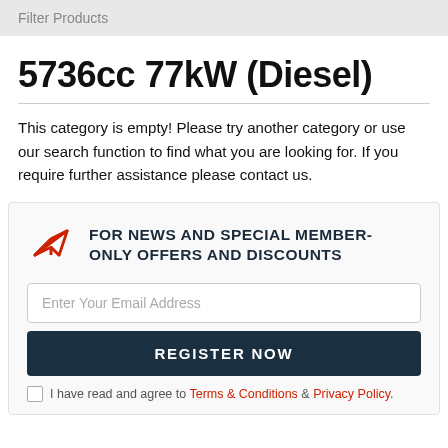Filter Products
5736cc 77kW (Diesel)
This category is empty! Please try another category or use our search function to find what you are looking for. If you require further assistance please contact us.
FOR NEWS AND SPECIAL MEMBER-ONLY OFFERS AND DISCOUNTS
Enter Your Email Address
REGISTER NOW
I have read and agree to Terms & Conditions & Privacy Policy.